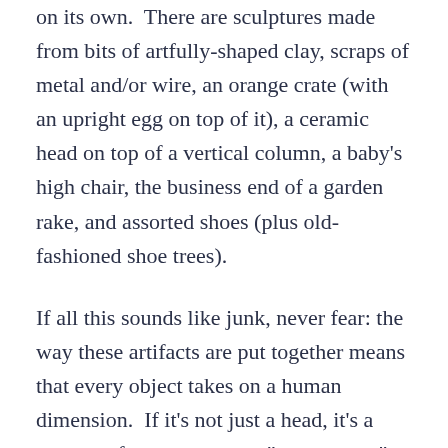on its own.  There are sculptures made from bits of artfully-shaped clay, scraps of metal and/or wire, an orange crate (with an upright egg on top of it), a ceramic head on top of a vertical column, a baby's high chair, the business end of a garden rake, and assorted shoes (plus old-fashioned shoe trees).
If all this sounds like junk, never fear: the way these artifacts are put together means that every object takes on a human dimension.  If it's not just a head, it's a woman of some sort, or a "personnage" – all with or without a bird.
Are these "personnages" male or female?  Well, the surrealists were all into Freud.  In those